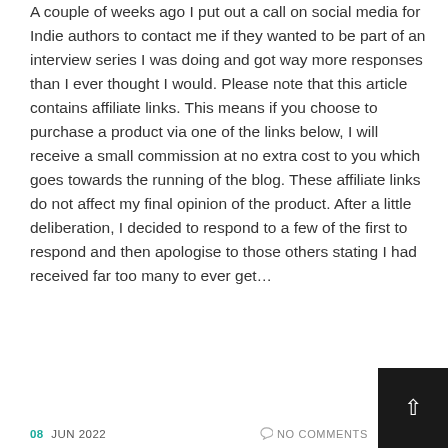...A couple of weeks ago I put out a call on social media for Indie authors to contact me if they wanted to be part of an interview series I was doing and got way more responses than I ever thought I would. Please note that this article contains affiliate links. This means if you choose to purchase a product via one of the links below, I will receive a small commission at no extra cost to you which goes towards the running of the blog. These affiliate links do not affect my final opinion of the product. After a little deliberation, I decided to respond to a few of the first to respond and then apologise to those others stating I had received far too many to ever get...
Read More
08 JUN 2022   NO COMMENTS